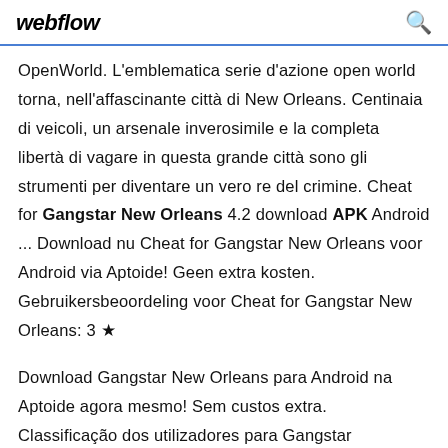webflow
OpenWorld. L'emblematica serie d'azione open world torna, nell'affascinante città di New Orleans. Centinaia di veicoli, un arsenale inverosimile e la completa libertà di vagare in questa grande città sono gli strumenti per diventare un vero re del crimine. Cheat for Gangstar New Orleans 4.2 download APK Android ... Download nu Cheat for Gangstar New Orleans voor Android via Aptoide! Geen extra kosten. Gebruikersbeoordeling voor Cheat for Gangstar New Orleans: 3 ★
Download Gangstar New Orleans para Android na Aptoide agora mesmo! Sem custos extra. Classificação dos utilizadores para Gangstar